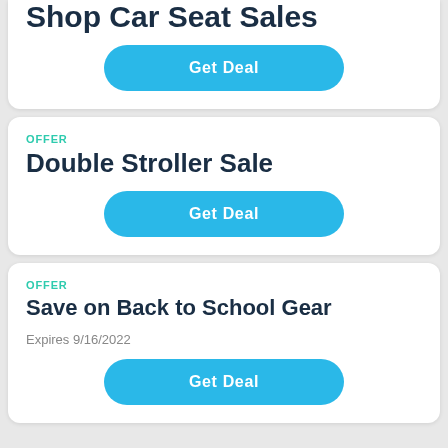Shop Car Seat Sales
Get Deal
OFFER
Double Stroller Sale
Get Deal
OFFER
Save on Back to School Gear
Expires 9/16/2022
Get Deal